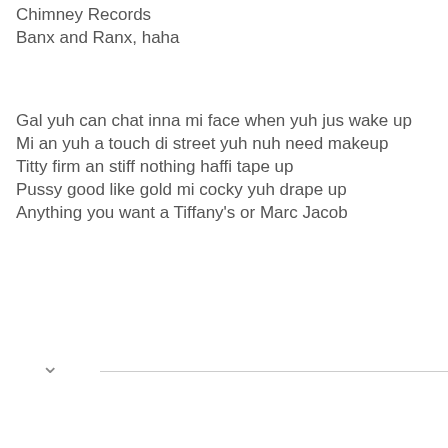Chimney Records
Banx and Ranx, haha
Gal yuh can chat inna mi face when yuh jus wake up
Mi an yuh a touch di street yuh nuh need makeup
Titty firm an stiff nothing haffi tape up
Pussy good like gold mi cocky yuh drape up
Anything you want a Tiffany's or Marc Jacob